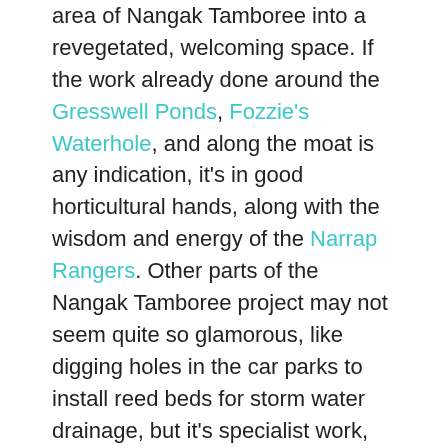area of Nangak Tamboree into a revegetated, welcoming space. If the work already done around the Gresswell Ponds, Fozzie's Waterhole, and along the moat is any indication, it's in good horticultural hands, along with the wisdom and energy of the Narrap Rangers. Other parts of the Nangak Tamboree project may not seem quite so glamorous, like digging holes in the car parks to install reed beds for storm water drainage, but it's specialist work, and all for the greater good. Cleaner waterways make for happier turtles.
I've learned a great deal in this last month: how to identify different ducks (although I still can't tell one pigeon from another); about flax lilies and fairy wrens and darters; about storm water courses and aquatic plants; and about walking and stillness. I can tell wallaby and kangaroo grass apart (I think), and all this bird-